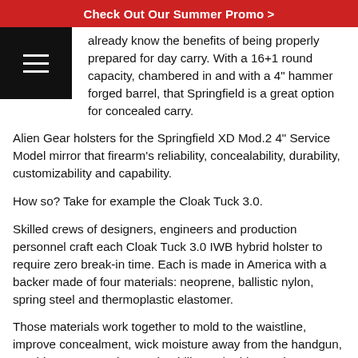Check Out Our Summer Promo >
already know the benefits of being properly prepared for day carry. With a 16+1 round capacity, chambered in and with a 4" hammer forged barrel, that Springfield is a great option for concealed carry.
Alien Gear holsters for the Springfield XD Mod.2 4" Service Model mirror that firearm's reliability, concealability, durability, customizability and capability.
How so? Take for example the Cloak Tuck 3.0.
Skilled crews of designers, engineers and production personnel craft each Cloak Tuck 3.0 IWB hybrid holster to require zero break-in time. Each is made in America with a backer made of four materials: neoprene, ballistic nylon, spring steel and thermoplastic elastomer.
Those materials work together to mold to the waistline, improve concealment, wick moisture away from the handgun, provide support, enhance durability and add retention.
The Cloak Mod OWB paddle holster also required extraordinary